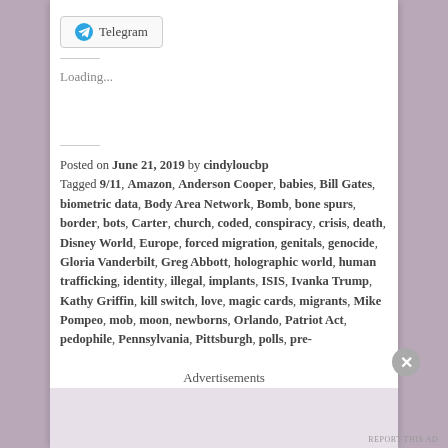[Figure (other): Telegram share button with icon]
Loading...
Posted on June 21, 2019 by cindyloucbp Tagged 9/11, Amazon, Anderson Cooper, babies, Bill Gates, biometric data, Body Area Network, Bomb, bone spurs, border, bots, Carter, church, coded, conspiracy, crisis, death, Disney World, Europe, forced migration, genitals, genocide, Gloria Vanderbilt, Greg Abbott, holographic world, human trafficking, identity, illegal, implants, ISIS, Ivanka Trump, Kathy Griffin, kill switch, love, magic cards, migrants, Mike Pompeo, mob, moon, newborns, Orlando, Patriot Act, pedophile, Pennsylvania, Pittsburgh, polls, pre-...
Advertisements